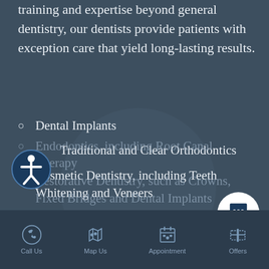training and expertise beyond general dentistry, our dentists provide patients with exception care that yield long-lasting results.
Dental Implants
Traditional and Clear Orthodontics
Cosmetic Dentistry, including Teeth Whitening and Veneers
Gum Disease Treatment
Endodontics, including Root Canal Therapy
Restorative Dentistry, such as Crowns, Fixed Bridges and Dental Implants
Call Us  Map Us  Appointment  Offers